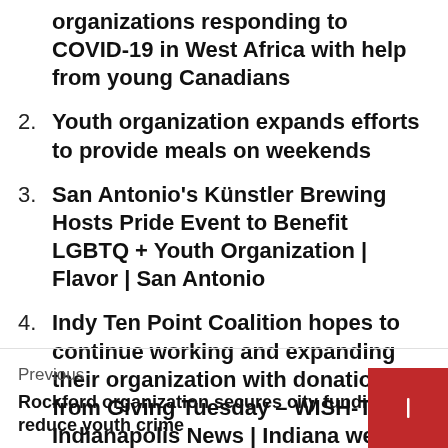organizations responding to COVID-19 in West Africa with help from young Canadians
2. Youth organization expands efforts to provide meals on weekends
3. San Antonio's Künstler Brewing Hosts Pride Event to Benefit LGBTQ + Youth Organization | Flavor | San Antonio
4. Indy Ten Point Coalition hopes to continue working and expanding their organization with donations from Giving Tuesday – WISH-TV | Indianapolis News | Indiana weather
Previous
Rockford organization secures city funding to reduce youth crime